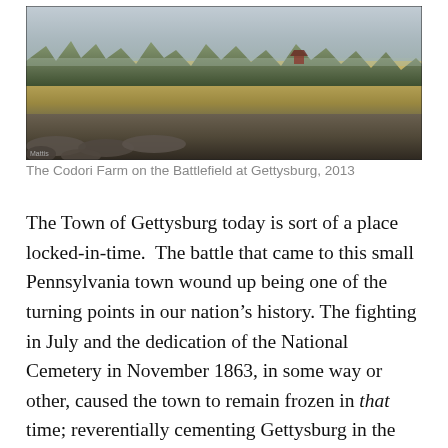[Figure (photo): Wide landscape photograph of the Codori Farm on the Battlefield at Gettysburg, 2013. Shows a broad open field with golden-brown grasses, a tree line in the middle distance, and a gray overcast sky. Rocky stone wall in the foreground lower left.]
The Codori Farm on the Battlefield at Gettysburg, 2013
The Town of Gettysburg today is sort of a place locked-in-time.  The battle that came to this small Pennsylvania town wound up being one of the turning points in our nation’s history. The fighting in July and the dedication of the National Cemetery in November 1863, in some way or other, caused the town to remain frozen in that time; reverentially cementing Gettysburg in the time of its greatest hour.